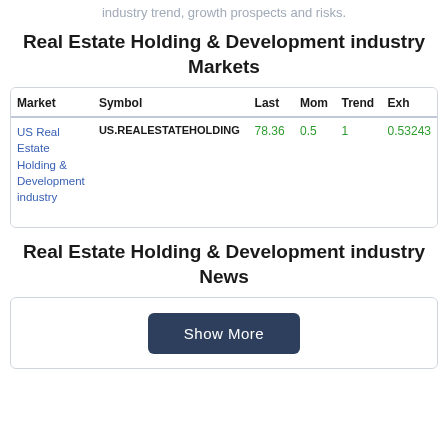industry trend, growth prospects and risks.
Real Estate Holding & Development industry Markets
| Market | Symbol | Last | Mom | Trend | Exh |
| --- | --- | --- | --- | --- | --- |
| US Real Estate Holding & Development industry | US.REALESTATEHOLDING | 78.36 | 0.5 | 1 | 0.53243 |
Real Estate Holding & Development industry News
Show More